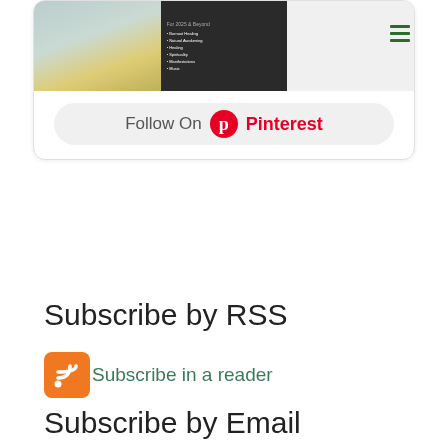[Figure (screenshot): Pinterest widget showing three thumbnail images (lifestyle photo, dark slide with text, light screenshot) and a 'Follow On Pinterest' button]
Subscribe by RSS
[Figure (logo): RSS feed icon (orange square with white wifi/signal symbol) followed by 'Subscribe in a reader' link text in teal/green]
Subscribe by Email